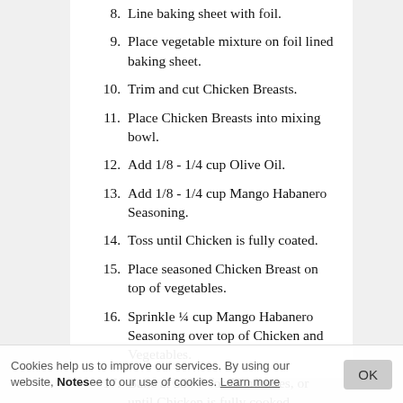8. Line baking sheet with foil.
9. Place vegetable mixture on foil lined baking sheet.
10. Trim and cut Chicken Breasts.
11. Place Chicken Breasts into mixing bowl.
12. Add 1/8 - 1/4 cup Olive Oil.
13. Add 1/8 - 1/4 cup Mango Habanero Seasoning.
14. Toss until Chicken is fully coated.
15. Place seasoned Chicken Breast on top of vegetables.
16. Sprinkle ¼ cup Mango Habanero Seasoning over top of Chicken and Vegetables.
17. Bake at 350 F for 50 minutes, or until Chicken is fully cooked.
Cookies help us to improve our services. By using our website, you agree to our use of cookies. Learn more  Notes